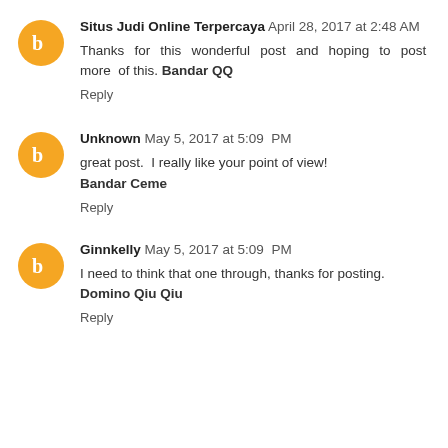Situs Judi Online Terpercaya April 28, 2017 at 2:48 AM
Thanks for this wonderful post and hoping to post more of this. Bandar QQ
Reply
Unknown May 5, 2017 at 5:09 PM
great post. I really like your point of view! Bandar Ceme
Reply
Ginnkelly May 5, 2017 at 5:09 PM
I need to think that one through, thanks for posting. Domino Qiu Qiu
Reply